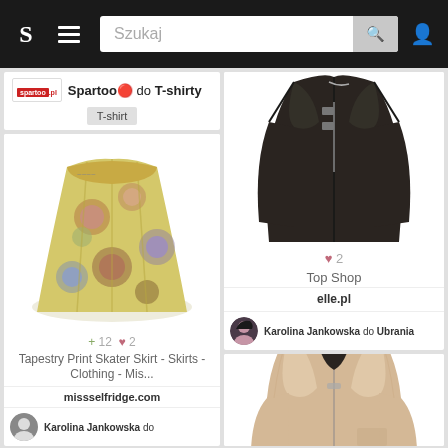S | Szukaj [search bar with magnifying glass icon]
T-shirt | Spartoo 🔴 do T-shirty
[Figure (photo): Floral tapestry print skater skirt on white background]
+ 12 ♥ 2
Tapestry Print Skater Skirt - Skirts - Clothing - Mis...
missselfridge.com
Karolina Jankowska do
[Figure (photo): Dark brown/black leather biker jacket on white background]
♥ 2
Top Shop
elle.pl
Karolina Jankowska do Ubrania
[Figure (photo): Beige/cream leather biker jacket (Balmain) on white background]